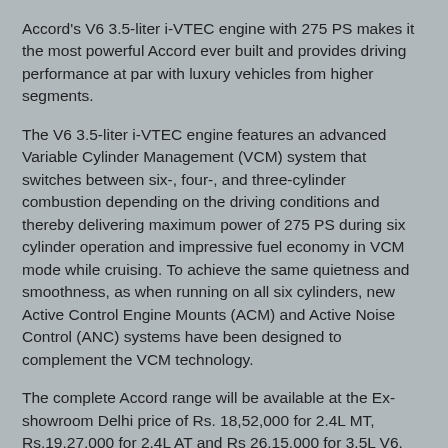Accord's V6 3.5-liter i-VTEC engine with 275 PS makes it the most powerful Accord ever built and provides driving performance at par with luxury vehicles from higher segments.
The V6 3.5-liter i-VTEC engine features an advanced Variable Cylinder Management (VCM) system that switches between six-, four-, and three-cylinder combustion depending on the driving conditions and thereby delivering maximum power of 275 PS during six cylinder operation and impressive fuel economy in VCM mode while cruising. To achieve the same quietness and smoothness, as when running on all six cylinders, new Active Control Engine Mounts (ACM) and Active Noise Control (ANC) systems have been designed to complement the VCM technology.
The complete Accord range will be available at the Ex-showroom Delhi price of Rs. 18,52,000 for 2.4L MT, Rs.19,27,000 for 2.4L AT and Rs 26,15,000 for 3.5L V6.
- Press Release : HSCI